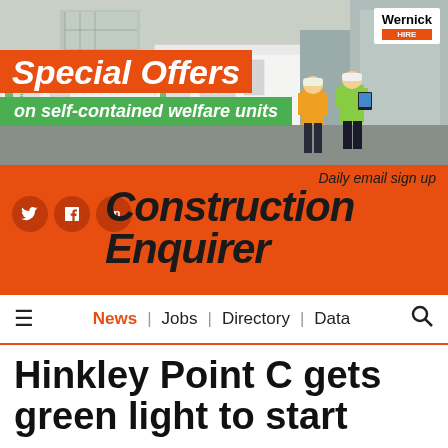[Figure (photo): Advertisement banner for Wernick Hire showing white self-contained welfare unit containers and two construction workers in hi-vis vests. Text reads 'Special Offers on self-contained welfare units'. Wernick Hire logo top right.]
[Figure (logo): Construction Enquirer logo in black text on orange background with social media icons (Twitter, LinkedIn, Facebook) and 'Daily email sign up' text.]
News | Jobs | Directory | Data
Hinkley Point C gets green light to start